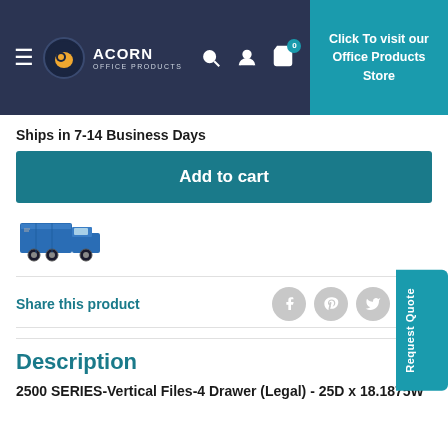Acorn Office Products — Click To visit our Office Products Store
Ships in 7-14 Business Days
Add to cart
[Figure (illustration): Delivery truck illustration]
Share this product
Description
2500 SERIES-Vertical Files-4 Drawer (Legal) - 25D x 18.1875W